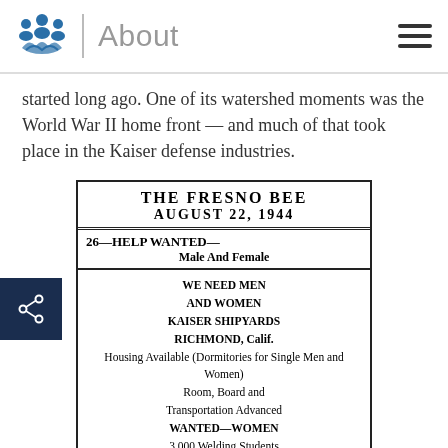About
started long ago. One of its watershed moments was the World War II home front — and much of that took place in the Kaiser defense industries.
[Figure (other): Newspaper clipping from The Fresno Bee, August 22, 1944. Section 26—Help Wanted—Male And Female. Ad reads: WE NEED MEN AND WOMEN KAISER SHIPYARDS RICHMOND, Calif. Housing Available (Dormitories for Single Men and Women) Room, Board and Transportation Advanced WANTED—WOMEN 3,000 Welding Students No Experience Needed Ages 15 to 45]